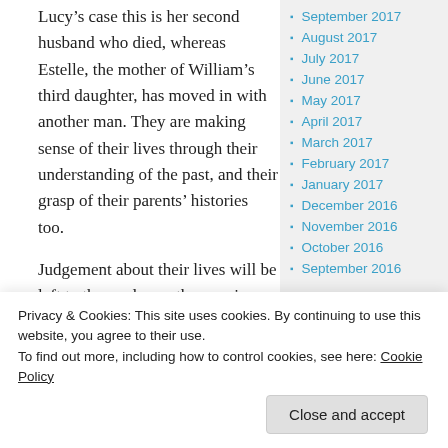Lucy’s case this is her second husband who died, whereas Estelle, the mother of William’s third daughter, has moved in with another man. They are making sense of their lives through their understanding of the past, and their grasp of their parents’ histories too.
Judgement about their lives will be left to the reader, as the opening sentence makes clear.
I would like to say a few things about my first husband. (3)
There will be no judgement, it seems. She
September 2017
August 2017
July 2017
June 2017
May 2017
April 2017
March 2017
February 2017
January 2017
December 2016
November 2016
October 2016
September 2016
March 2016
Privacy & Cookies: This site uses cookies. By continuing to use this website, you agree to their use.
To find out more, including how to control cookies, see here: Cookie Policy
Close and accept